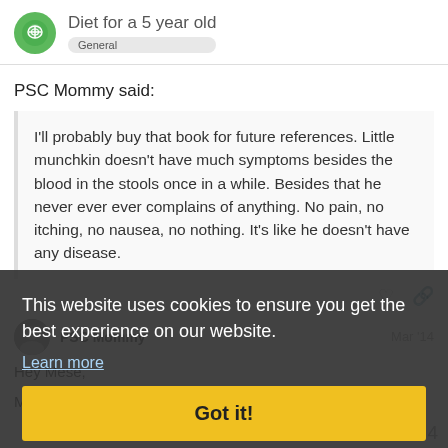Diet for a 5 year old — General
PSC Mommy said:
I'll probably buy that book for future references. Little munchkin doesn't have much symptoms besides the blood in the stools once in a while. Besides that he never ever ever complains of anything. No pain, no itching, no nausea, no nothing. It's like he doesn't have any disease.
This website uses cookies to ensure you get the best experience on our website.
Learn more
Got it!
PSC Mommy
Mar '14
Hey Mese,
My son responds well to his currently trea
1 / 4